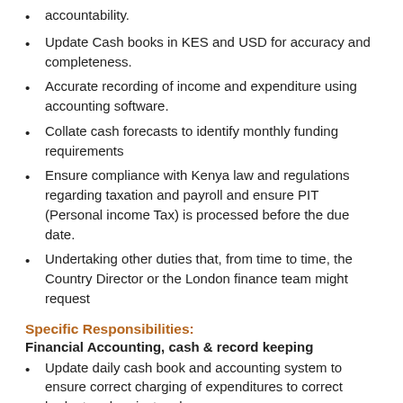accountability.
Update Cash books in KES and USD for accuracy and completeness.
Accurate recording of income and expenditure using accounting software.
Collate cash forecasts to identify monthly funding requirements
Ensure compliance with Kenya law and regulations regarding taxation and payroll and ensure PIT (Personal income Tax) is processed before the due date.
Undertaking other duties that, from time to time, the Country Director or the London finance team might request
Specific Responsibilities:
Financial Accounting, cash & record keeping
Update daily cash book and accounting system to ensure correct charging of expenditures to correct budget and project codes.
Review payment vouchers prepared by Finance and admin assistant to ensure correct charge codes are applied and ensure the vouchers are fully supported with relevant documentation on procurement.